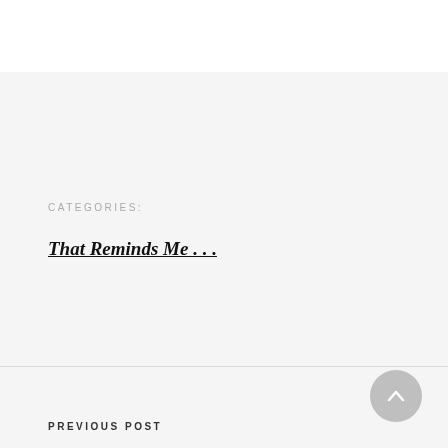CATEGORIES:
That Reminds Me . . .
PREVIOUS POST